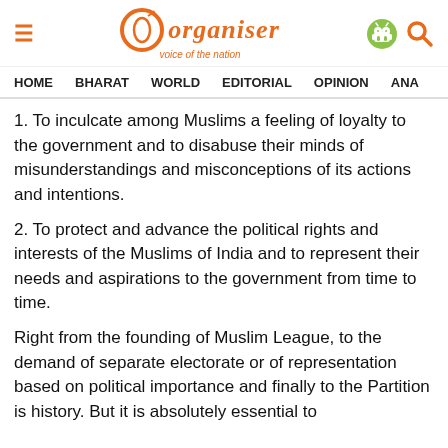Organiser — voice of the nation
HOME | BHARAT | WORLD | EDITORIAL | OPINION | ANA
1. To inculcate among Muslims a feeling of loyalty to the government and to disabuse their minds of misunderstandings and misconceptions of its actions and intentions.
2. To protect and advance the political rights and interests of the Muslims of India and to represent their needs and aspirations to the government from time to time.
Right from the founding of Muslim League, to the demand of separate electorate or of representation based on political importance and finally to the Partition is history. But it is absolutely essential to